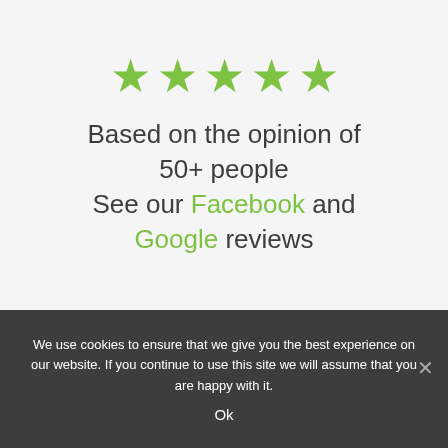[Figure (other): Five green star icons in a row representing a 5-star rating]
Based on the opinion of 50+ people
See our Facebook and
Google reviews
We use cookies to ensure that we give you the best experience on our website. If you continue to use this site we will assume that you are happy with it.
Ok